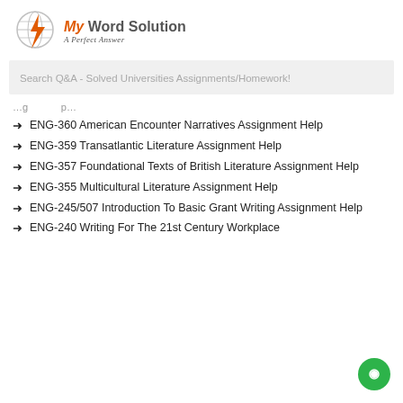[Figure (logo): My Word Solution logo with globe and lightning bolt icon, orange and gray text, tagline 'A Perfect Answer']
Search Q&A - Solved Universities Assignments/Homework!
…g…p…
ENG-360 American Encounter Narratives Assignment Help
ENG-359 Transatlantic Literature Assignment Help
ENG-357 Foundational Texts of British Literature Assignment Help
ENG-355 Multicultural Literature Assignment Help
ENG-245/507 Introduction To Basic Grant Writing Assignment Help
ENG-240 Writing For The 21st Century Workplace